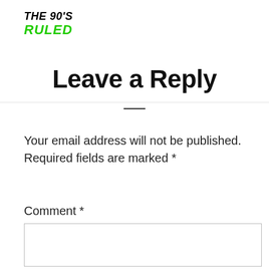THE 90'S RULED
Leave a Reply
Your email address will not be published. Required fields are marked *
Comment *